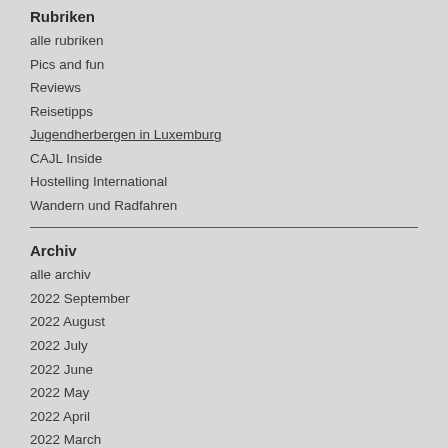Rubriken
alle rubriken
Pics and fun
Reviews
Reisetipps
Jugendherbergen in Luxemburg
CAJL Inside
Hostelling International
Wandern und Radfahren
Archiv
alle archiv
2022 September
2022 August
2022 July
2022 June
2022 May
2022 April
2022 March
2022 February
2022 January